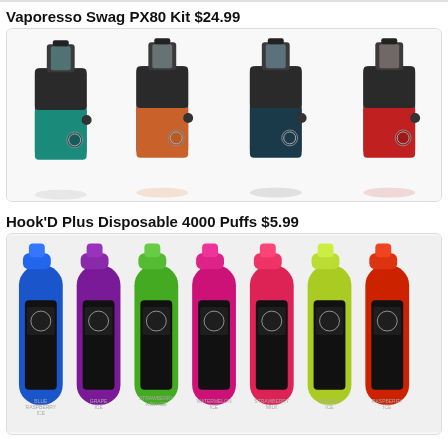Vaporesso Swag PX80 Kit $24.99
[Figure (photo): Four Vaporesso Swag PX80 Kit devices in different colors: teal/green, orange/brown, dark teal, and red, each with black top hardware.]
Hook'D Plus Disposable 4000 Puffs $5.99
[Figure (photo): Seven Hook'D Plus Disposable vape devices in different colors (blue, purple, green, pink/magenta, hot pink, yellow-green, red) with flavor labels: Blue Raspberry Ice, Grape Ice, Strawberry Kiwi Ice, Watermelon Ice, Strawberry Milk, Banana Ice, Raspberry Ice.]